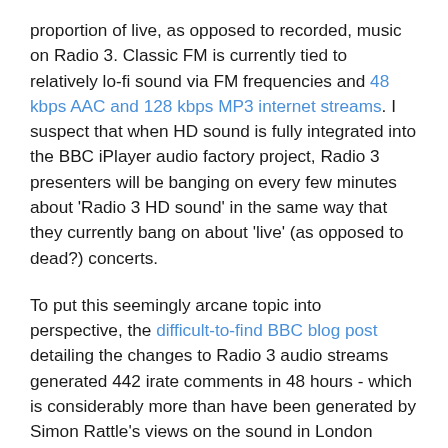proportion of live, as opposed to recorded, music on Radio 3. Classic FM is currently tied to relatively lo-fi sound via FM frequencies and 48 kbps AAC and 128 kbps MP3 internet streams. I suspect that when HD sound is fully integrated into the BBC iPlayer audio factory project, Radio 3 presenters will be banging on every few minutes about 'Radio 3 HD sound' in the same way that they currently bang on about 'live' (as opposed to dead?) concerts.
To put this seemingly arcane topic into perspective, the difficult-to-find BBC blog post detailing the changes to Radio 3 audio streams generated 442 irate comments in 48 hours - which is considerably more than have been generated by Simon Rattle's views on the sound in London concert halls. Internet protocols and standards are constantly changing, and it is quite right that the BBC is migrating their audio streams to the emerging standards. But this latest change has been handled, taking a lenient view, in a clumsy fashion. Or taking a critical view, it has been handled in a typically arrogant way